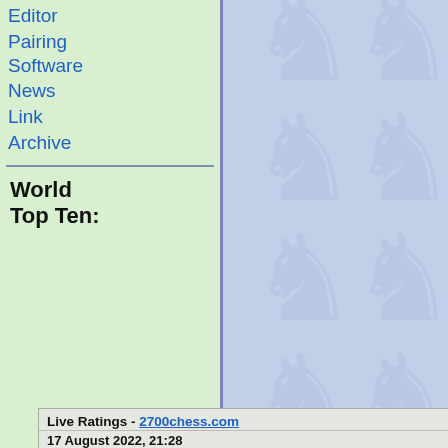Editor
Pairing Software
News
Link
Archive
World Top Ten:
| # | Name | Rating |
| --- | --- | --- |
| 1 | Carlsen 🇳🇴 | 2861.0 |
| 2 | Ding Liren 🇨🇳 | 2808.0 |
| 3 | Nepomniachtc 🇷🇺 | 2792.0 |
| 4 | Firouzja 🇫🇷 | 2778.0 |
| 5 | So 🇺🇸 | 2771.0 |
| 6 | Nakamura 🇺🇸 | 2768.0 |
| 7 | Giri 🇳🇱 | 2764.3 |
| 8 | Aronian 🇺🇸 | 2758.6 |
| 9 | Caruana 🇺🇸 | 2757.7 |
| 10 | Mamedyarov 🇦🇿 | 2757.5 |